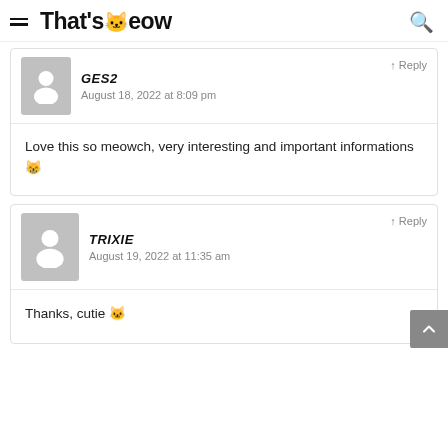That'sMeow
↑ Reply
GES2
August 18, 2022 at 8:09 pm
Love this so meowch, very interesting and important informations 😸
↑ Reply
TRIXIE
August 19, 2022 at 11:35 am
Thanks, cutie 🐱